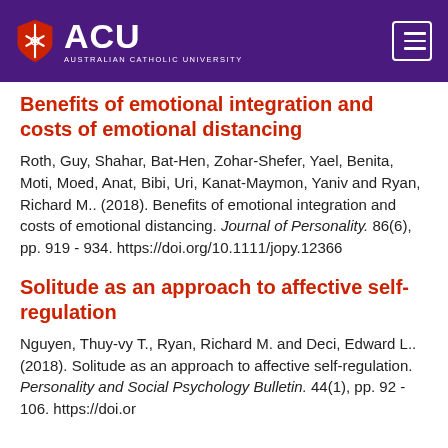ACU AUSTRALIAN CATHOLIC UNIVERSITY
Benefits of emotional integration and costs of emotional distancing
Roth, Guy, Shahar, Bat-Hen, Zohar-Shefer, Yael, Benita, Moti, Moed, Anat, Bibi, Uri, Kanat-Maymon, Yaniv and Ryan, Richard M.. (2018). Benefits of emotional integration and costs of emotional distancing. Journal of Personality. 86(6), pp. 919 - 934. https://doi.org/10.1111/jopy.12366
Solitude as an approach to affective self-regulation
Nguyen, Thuy-vy T., Ryan, Richard M. and Deci, Edward L.. (2018). Solitude as an approach to affective self-regulation. Personality and Social Psychology Bulletin. 44(1), pp. 92 - 106. https://doi.or